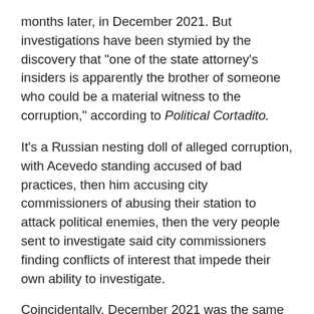months later, in December 2021. But investigations have been stymied by the discovery that "one of the state attorney's insiders is apparently the brother of someone who could be a material witness to the corruption," according to Political Cortadito.
It's a Russian nesting doll of alleged corruption, with Acevedo standing accused of bad practices, then him accusing city commissioners of abusing their station to attack political enemies, then the very people sent to investigate said city commissioners finding conflicts of interest that impede their own ability to investigate.
Coincidentally, December 2021 was the same month that San Francisco's former Director of Public Works Mohammed Nuru pleaded guilty to accepting bribes and kickbacks in an almost two-year federal corruption case that elucidated problems within city governance there. The probe is ongoing, and a dozen other San Francisco city government officials either have been